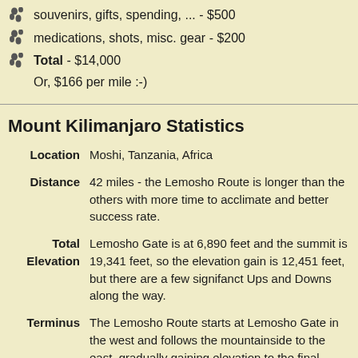souvenirs, gifts, spending, ... - $500
medications, shots, misc. gear - $200
Total - $14,000
Or, $166 per mile :-)
Mount Kilimanjaro Statistics
|  |  |
| --- | --- |
| Location | Moshi, Tanzania, Africa |
| Distance | 42 miles - the Lemosho Route is longer than the others with more time to acclimate and better success rate. |
| Total Elevation | Lemosho Gate is at 6,890 feet and the summit is 19,341 feet, so the elevation gain is 12,451 feet, but there are a few signifanct Ups and Downs along the way. |
| Terminus | The Lemosho Route starts at Lemosho Gate in the west and follows the mountainside to the east, gradually gaining elevation to the final camp on the east side. From there, the summit is climbed and then the descent exits out the |